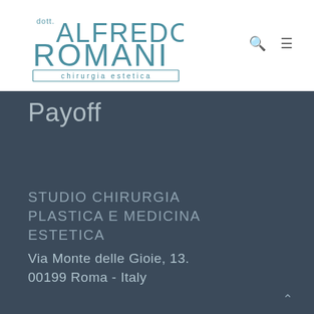[Figure (logo): Dott. Alfredo Romani - chirurgia estetica logo with teal/blue text and bordered subtitle]
Payoff
STUDIO CHIRURGIA PLASTICA E MEDICINA ESTETICA
Via Monte delle Gioie, 13. 00199 Roma - Italy